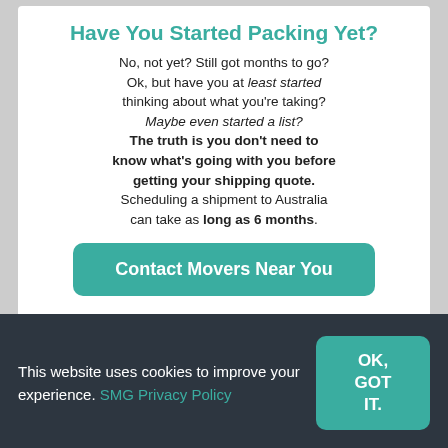Have You Started Packing Yet?
No, not yet? Still got months to go? Ok, but have you at least started thinking about what you're taking? Maybe even started a list? The truth is you don't need to know what's going with you before getting your shipping quote. Scheduling a shipment to Australia can take as long as 6 months.
Contact Movers Near You
Open Your Bank Account
This website uses cookies to improve your experience. SMG Privacy Policy
OK, GOT IT.